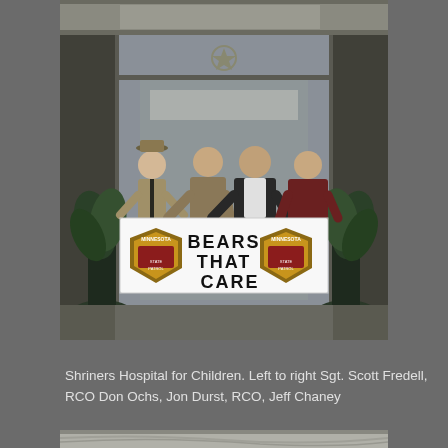[Figure (photo): Four people standing in front of the Shriners Hospital for Children entrance, holding a white banner that reads 'BEARS THAT CARE' with Minnesota State Patrol badges on each side. From left to right: Sgt. Scott Fredell in uniform, RCO Don Ochs, Jon Durst, RCO Jeff Chaney.]
Shriners Hospital for Children. Left to right Sgt. Scott Fredell, RCO Don Ochs, Jon Durst, RCO, Jeff Chaney
[Figure (photo): Partial view of a building exterior, appears to be the lower portion of the Shriners Hospital for Children.]